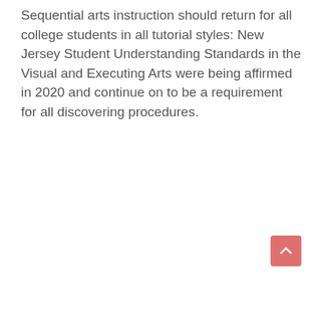Sequential arts instruction should return for all college students in all tutorial styles: New Jersey Student Understanding Standards in the Visual and Executing Arts were being affirmed in 2020 and continue on to be a requirement for all discovering procedures.
[Figure (other): A pinkish-red rounded square button with a white upward-pointing chevron/caret arrow, used as a scroll-to-top navigation button.]